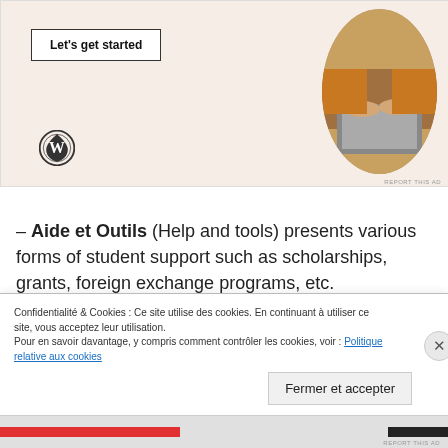[Figure (photo): WordPress advertisement banner with a 'Let's get started' button, WordPress logo, and a circular photo of hands typing on a laptop.]
– Aide et Outils (Help and tools) presents various forms of student support such as scholarships, grants, foreign exchange programs, etc.
Confidentialité & Cookies : Ce site utilise des cookies. En continuant à utiliser ce site, vous acceptez leur utilisation.
Pour en savoir davantage, y compris comment contrôler les cookies, voir : Politique relative aux cookies
Fermer et accepter